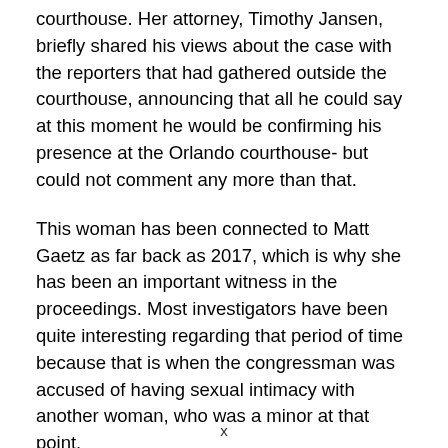courthouse. Her attorney, Timothy Jansen, briefly shared his views about the case with the reporters that had gathered outside the courthouse, announcing that all he could say at this moment he would be confirming his presence at the Orlando courthouse- but could not comment any more than that.
This woman has been connected to Matt Gaetz as far back as 2017, which is why she has been an important witness in the proceedings. Most investigators have been quite interesting regarding that period of time because that is when the congressman was accused of having sexual intimacy with another woman, who was a minor at that point.
The ex-girlfriend could also prove to be quite integral for the
x